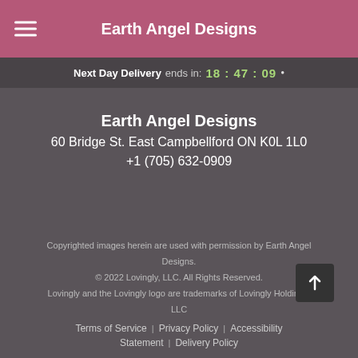Earth Angel Designs
Next Day Delivery ends in: 18 : 47 : 09
Earth Angel Designs
60 Bridge St. East Campbellford ON K0L 1L0
+1 (705) 632-0909
Copyrighted images herein are used with permission by Earth Angel Designs.
© 2022 Lovingly, LLC. All Rights Reserved.
Lovingly and the Lovingly logo are trademarks of Lovingly Holdings, LLC
Terms of Service | Privacy Policy | Accessibility Statement | Delivery Policy